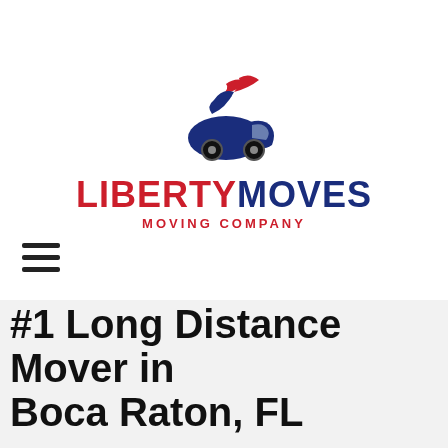[Figure (logo): Liberty Moves Moving Company logo: a blue truck/car silhouette with red swoosh speed lines above, company name LIBERTY in red bold uppercase, MOVES in dark navy bold uppercase, and MOVING COMPANY in red smaller uppercase letters below.]
[Figure (other): Hamburger menu icon — three horizontal black lines stacked vertically]
#1 Long Distance Mover in Boca Raton, FL